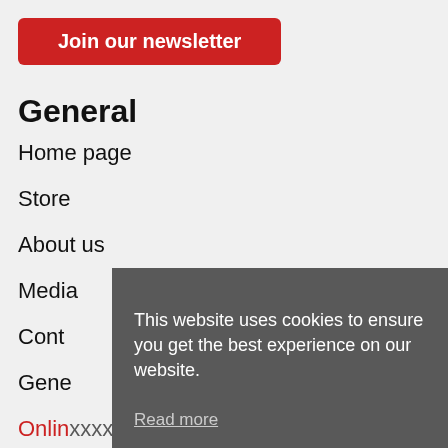Join our newsletter
General
Home page
Store
About us
Media
Cont...
Gene...
Onlin...
Priva...
This website uses cookies to ensure you get the best experience on our website.
Read more
I understood